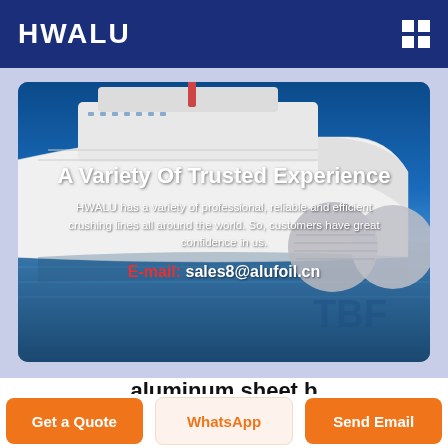HWALU
[Figure (photo): Banner image showing a large cruise ship on water with blue sky background, overlaid with text: 'A Variety Of Trusted Experience', a descriptive paragraph, and an email address sales8@alufoil.cn]
aluminum sheet b
Get a Quote
WhatsApp
Send Email